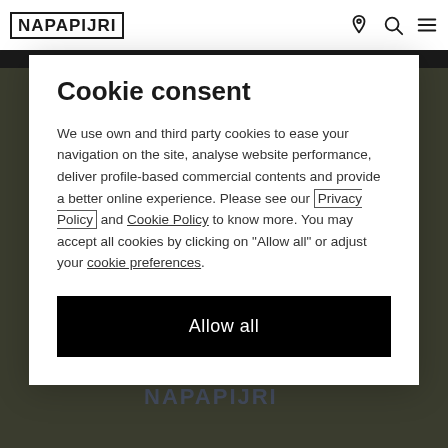NAPAPIJRI
[Figure (screenshot): Dark olive/khaki background showing a Napapijri branded sweatshirt product photo with faint Napapijri logo text at bottom]
Cookie consent
We use own and third party cookies to ease your navigation on the site, analyse website performance, deliver profile-based commercial contents and provide a better online experience. Please see our Privacy Policy and Cookie Policy to know more. You may accept all cookies by clicking on “Allow all” or adjust your cookie preferences.
Allow all